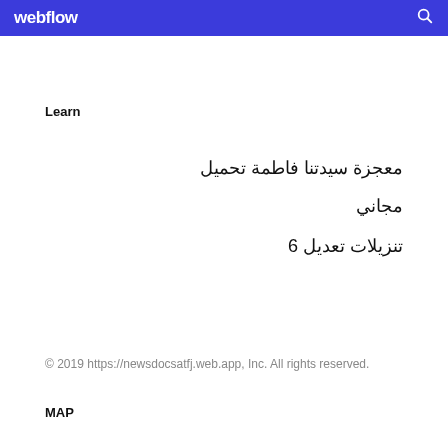webflow
Learn
معجزة سيدتنا فاطمة تحميل مجاني
تنزيلات تعديل 6
© 2019 https://newsdocsatfj.web.app, Inc. All rights reserved.
MAP